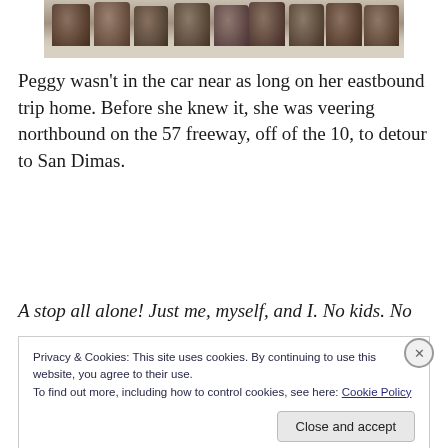[Figure (photo): Photo of wooden barrels/buckets lined up on a surface, partially cropped at top of page]
Peggy wasn't in the car near as long on her eastbound trip home. Before she knew it, she was veering northbound on the 57 freeway, off of the 10, to detour to San Dimas.
A stop all alone! Just me, myself, and I. No kids. No
Privacy & Cookies: This site uses cookies. By continuing to use this website, you agree to their use.
To find out more, including how to control cookies, see here: Cookie Policy
Close and accept